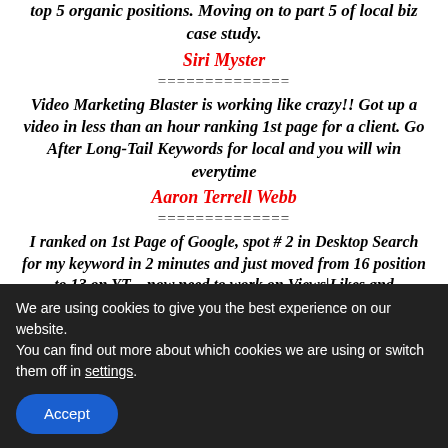top 5 organic positions. Moving on to part 5 of local biz case study.
Siri Myster
==============
Video Marketing Blaster is working like crazy!! Got up a video in less than an hour ranking 1st page for a client. Go After Long-Tail Keywords for local and you will win everytime
Aaron Terrell Webb
==============
I ranked on 1st Page of Google, spot # 2 in Desktop Search for my keyword in 2 minutes and just moved from 16 position to 13 on YT – now need to work on Views|Likes and
We are using cookies to give you the best experience on our website.
You can find out more about which cookies we are using or switch them off in settings.